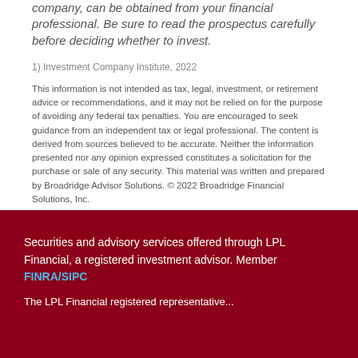company, can be obtained from your financial professional. Be sure to read the prospectus carefully before deciding whether to invest.
1) Investment Company Institute, 2022
This information is not intended as tax, legal, investment, or retirement advice or recommendations, and it may not be relied on for the purpose of avoiding any federal tax penalties. You are encouraged to seek guidance from an independent tax or legal professional. The content is derived from sources believed to be accurate. Neither the information presented nor any opinion expressed constitutes a solicitation for the purchase or sale of any security. This material was written and prepared by Broadridge Advisor Solutions. © 2022 Broadridge Financial Solutions, Inc.
Securities and advisory services offered through LPL Financial, a registered investment advisor. Member FINRA/SIPC
The LPL Financial registered representative...